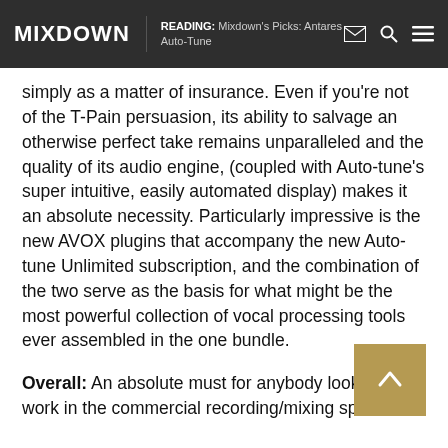MIXDOWN | READING: Mixdown's Picks: Antares Auto-Tune
simply as a matter of insurance. Even if you're not of the T-Pain persuasion, its ability to salvage an otherwise perfect take remains unparalleled and the quality of its audio engine, (coupled with Auto-tune's super intuitive, easily automated display) makes it an absolute necessity. Particularly impressive is the new AVOX plugins that accompany the new Auto-tune Unlimited subscription, and the combination of the two serve as the basis for what might be the most powerful collection of vocal processing tools ever assembled in the one bundle.
Overall: An absolute must for anybody looking to work in the commercial recording/mixing space.